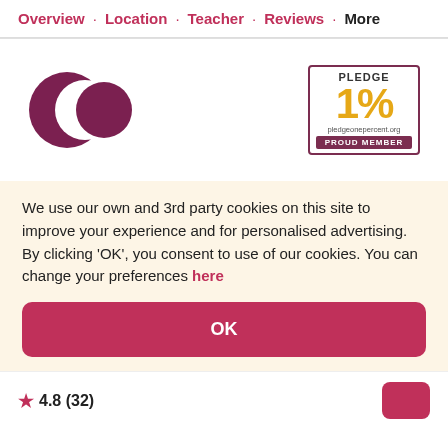Overview · Location · Teacher · Reviews · More
[Figure (logo): Stylized dark red/maroon crescent and circle logo]
[Figure (logo): Pledge 1% pledgeonepercent.org PROUD MEMBER badge]
We use our own and 3rd party cookies on this site to improve your experience and for personalised advertising. By clicking 'OK', you consent to use of our cookies. You can change your preferences here
OK
★ 4.8 (32)